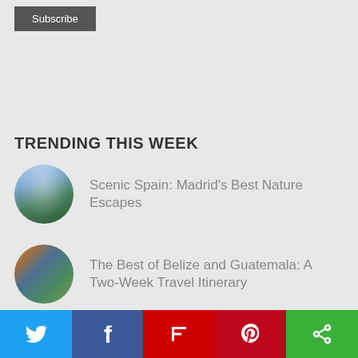Subscribe
TRENDING THIS WEEK
Scenic Spain: Madrid's Best Nature Escapes
The Best of Belize and Guatemala: A Two-Week Travel Itinerary
How to Improve Your Spanish While in Spain
Twitter | Facebook | Flipboard | Pinterest | Other